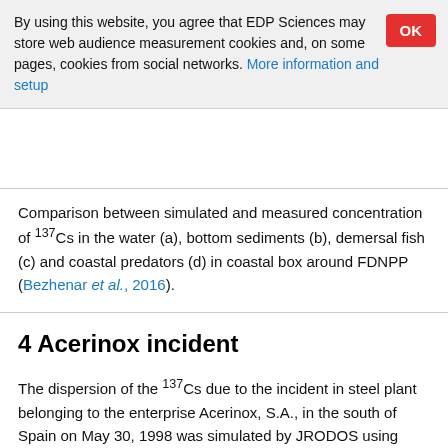By using this website, you agree that EDP Sciences may store web audience measurement cookies and, on some pages, cookies from social networks. More information and setup
Comparison between simulated and measured concentration of 137Cs in the water (a), bottom sediments (b), demersal fish (c) and coastal predators (d) in coastal box around FDNPP (Bezhenar et al., 2016).
4 Acerinox incident
The dispersion of the 137Cs due to the incident in steel plant belonging to the enterprise Acerinox, S.A., in the south of Spain on May 30, 1998 was simulated by JRODOS using chain of long range atmospheric transport model and POSEIDON-R model. The results of an ADM simulation, total (dry and wet) deposition on the surface of Mediterranean Sea, were used as input data for